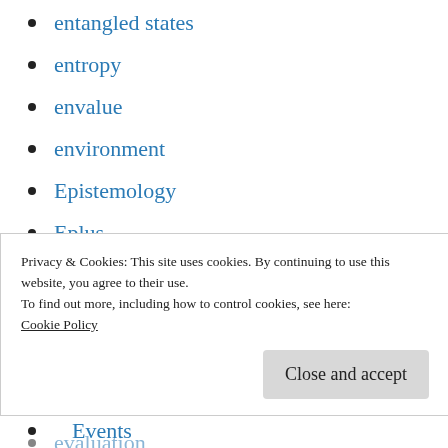entangled states
entropy
envalue
environment
Epistemology
Eplus
ethic for ai
ethics
EU
evaluated theory
evaluation
Privacy & Cookies: This site uses cookies. By continuing to use this website, you agree to their use.
To find out more, including how to control cookies, see here:
Cookie Policy
Close and accept
Events